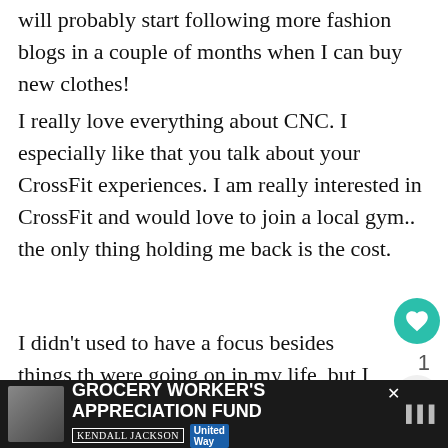will probably start following more fashion blogs in a couple of months when I can buy new clothes!
I really love everything about CNC. I especially like that you talk about your CrossFit experiences. I am really interested in CrossFit and would love to join a local gym.. the only thing holding me back is the cost.
I didn't used to have a focus besides things that were going on in my life, but I recently decided to focus on my journey to getting healthy. It could change my perspective about the way it is now.
[Figure (infographic): Grocery Worker's Appreciation Fund advertisement banner with Kendall Jackson and United Way logos]
[Figure (infographic): Heart/like button (teal circle with heart icon), share button, count '1', and What's Next panel showing '9 Signs You Have an...']